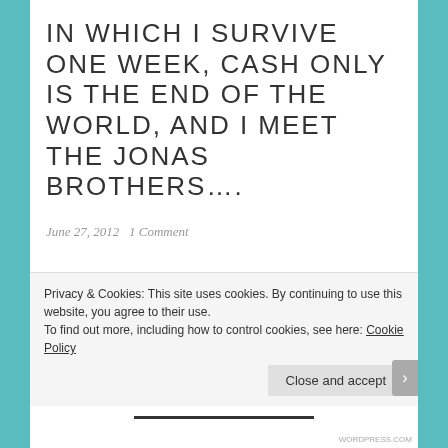IN WHICH I SURVIVE ONE WEEK, CASH ONLY IS THE END OF THE WORLD, AND I MEET THE JONAS BROTHERS….
June 27, 2012   1 Comment
I survived a whole week. It is nowhere near as traumatic as people have been expecting, I have actually quite enjoyed it if I am honest.
Other than living in the hostel I really haven't done that
Privacy & Cookies: This site uses cookies. By continuing to use this website, you agree to their use.
To find out more, including how to control cookies, see here: Cookie Policy
Close and accept